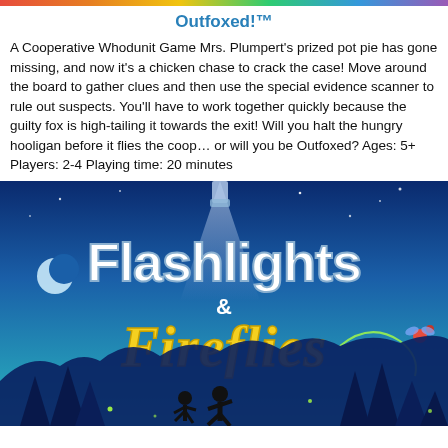Outfoxed!™
A Cooperative Whodunit Game Mrs. Plumpert's prized pot pie has gone missing, and now it's a chicken chase to crack the case! Move around the board to gather clues and then use the special evidence scanner to rule out suspects. You'll have to work together quickly because the guilty fox is high-tailing it towards the exit! Will you halt the hungry hooligan before it flies the coop… or will you be Outfoxed? Ages: 5+ Players: 2-4 Playing time: 20 minutes
[Figure (illustration): Book cover for 'Flashlights & Fireflies' showing stylized white text 'Flashlights' and yellow cursive 'Fireflies' on a blue night sky background with two children running, a crescent moon, trees, and a firefly leaving a glowing trail.]